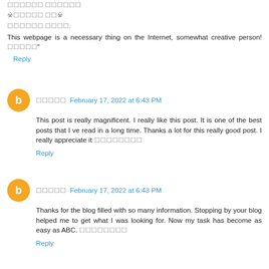This webpage is a necessary thing on the Internet, somewhat creative person!
Reply
February 17, 2022 at 6:43 PM
This post is really magnificent. I really like this post. It is one of the best posts that I ve read in a long time. Thanks a lot for this really good post. I really appreciate it
Reply
February 17, 2022 at 6:43 PM
Thanks for the blog filled with so many information. Stopping by your blog helped me to get what I was looking for. Now my task has become as easy as ABC.
Reply